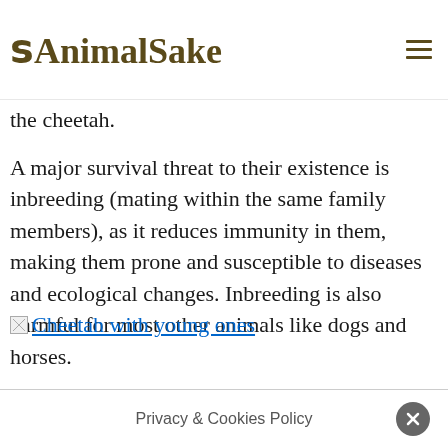AnimalSake
the cheetah.
A major survival threat to their existence is inbreeding (mating within the same family members), as it reduces immunity in them, making them prone and susceptible to diseases and ecological changes. Inbreeding is also harmful for most other animals like dogs and horses.
[Figure (photo): Cheetah with young ones — broken image link displayed as alt text]
Privacy & Cookies Policy